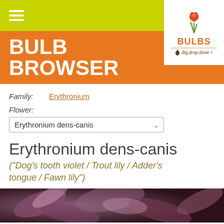BULB BROWSER
[Figure (logo): Bulbs dig.drop.done logo with tulip icon]
Family: Erythronium
Flower: Erythronium dens-canis
Erythronium dens-canis
("Dog's tooth violet / Trout lily / Adder's tongue / Fawn lily")
[Figure (photo): Close-up photograph of pink Erythronium dens-canis flower petals]